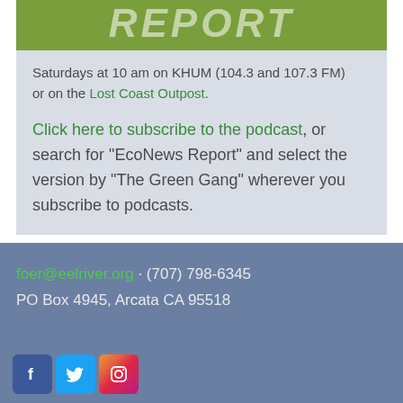[Figure (logo): Green banner with italic bold white text reading REPORT]
Saturdays at 10 am on KHUM (104.3 and 107.3 FM) or on the Lost Coast Outpost.
Click here to subscribe to the podcast, or search for "EcoNews Report" and select the version by "The Green Gang" wherever you subscribe to podcasts.
foer@eelriver.org · (707) 798-6345
PO Box 4945, Arcata CA 95518